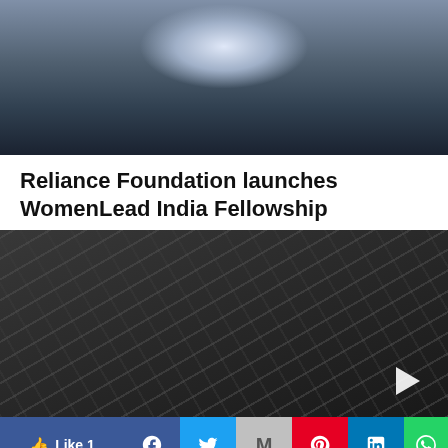[Figure (photo): Person holding a tablet device, viewed from above, showing hands on a glowing tablet screen with clothing and chair visible]
Reliance Foundation launches WomenLead India Fellowship
[Figure (photo): Aerial view of a large parking lot filled with hundreds of cars arranged in diagonal rows, dark overhead shot, with a white play button triangle overlay in the bottom right]
[Figure (infographic): Social media sharing bar with Like button showing count 1, Facebook, Twitter, Gmail, Pinterest, LinkedIn, WhatsApp, Line, and Flipboard icons]